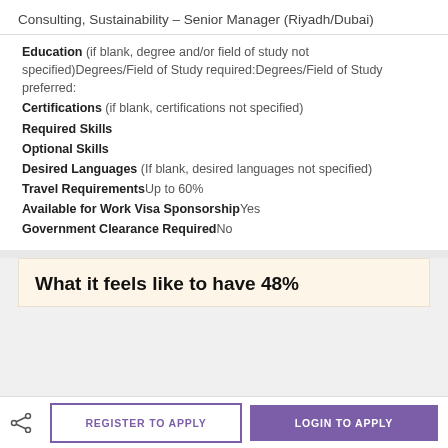Consulting, Sustainability – Senior Manager (Riyadh/Dubai)
Education (if blank, degree and/or field of study not specified)Degrees/Field of Study required:Degrees/Field of Study preferred:
Certifications (if blank, certifications not specified)
Required Skills
Optional Skills
Desired Languages (If blank, desired languages not specified)
Travel RequirementsUp to 60%
Available for Work Visa SponsorshipYes
Government Clearance RequiredNo
What it feels like to have 48%